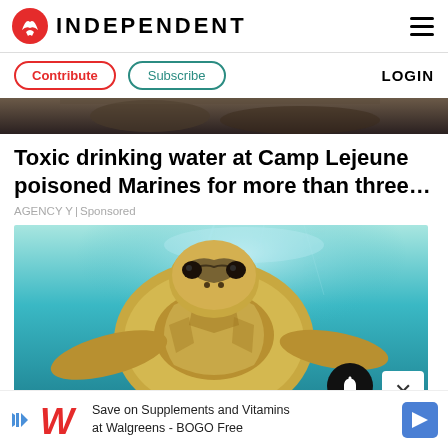INDEPENDENT
Contribute | Subscribe | LOGIN
[Figure (photo): Partial top image strip showing dark rocky/animal background]
Toxic drinking water at Camp Lejeune poisoned Marines for more than three…
AGENCY Y | Sponsored
[Figure (photo): Close-up underwater photograph of a sea turtle swimming, viewed from the front, with turquoise water in the background]
Save on Supplements and Vitamins at Walgreens - BOGO Free